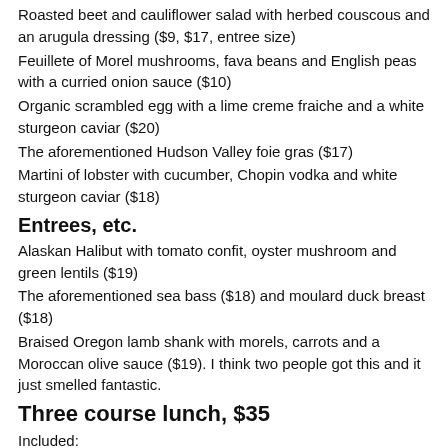Roasted beet and cauliflower salad with herbed couscous and an arugula dressing ($9, $17, entree size)
Feuillete of Morel mushrooms, fava beans and English peas with a curried onion sauce ($10)
Organic scrambled egg with a lime creme fraiche and a white sturgeon caviar ($20)
The aforementioned Hudson Valley foie gras ($17)
Martini of lobster with cucumber, Chopin vodka and white sturgeon caviar ($18)
Entrees, etc.
Alaskan Halibut with tomato confit, oyster mushroom and green lentils ($19)
The aforementioned sea bass ($18) and moulard duck breast ($18)
Braised Oregon lamb shank with morels, carrots and a Moroccan olive sauce ($19). I think two people got this and it just smelled fantastic.
Three course lunch, $35
Included:
The cured sea bass app
The braised lamb shank
Opera cake with hazelnut and a caramel sauce